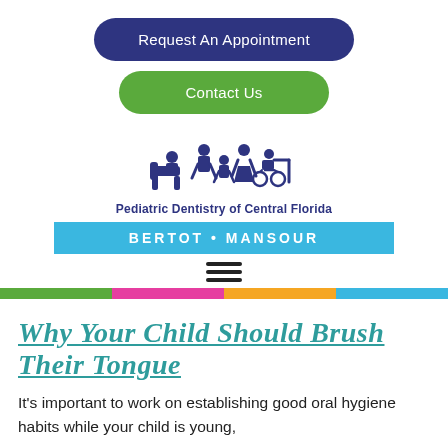Request An Appointment
Contact Us
[Figure (logo): Pediatric Dentistry of Central Florida logo with family silhouettes and dental chair]
Pediatric Dentistry of Central Florida
BERTOT • MANSOUR
[Figure (other): Hamburger menu icon (three horizontal lines)]
[Figure (infographic): Multicolor horizontal bar: green, pink, orange, cyan]
Why Your Child Should Brush Their Tongue
It's important to work on establishing good oral hygiene habits while your child is young,